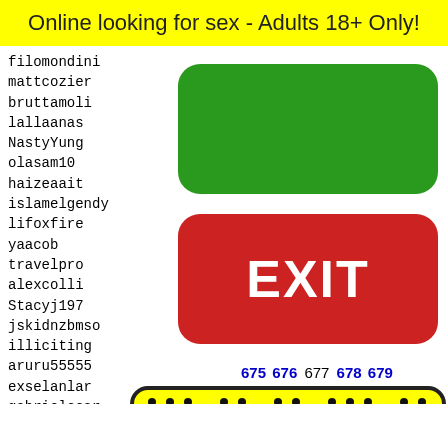Online looking for sex - Adults 18+ Only!
filomondini
mattcozier
bruttamoli
lallaanas
NastyYung
olasam10
haizeaait
islamelgendy
lifoxfire
yaacob
travelpro
alexcolli
Stacyj197
jskidnzbmso
illiciting
aruru55555
exselanlar
gabrieleear
caitporter
Lil_It
miller
giadan
alicek
shrimp
eltarm
[Figure (other): Green rounded rectangle button (no text)]
[Figure (other): Red rounded rectangle EXIT button with white EXIT text]
675 676 677 678 679
[Figure (other): Snapchat ghost logo on yellow background with black rounded border and black dot pattern]